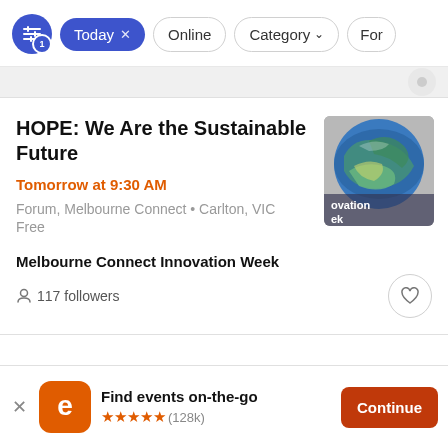[Figure (screenshot): Filter bar with active 'Today' chip, 'Online' chip, 'Category' dropdown chip, and partial 'For' chip. Blue filter icon with badge '1'.]
HOPE: We Are the Sustainable Future
Tomorrow at 9:30 AM
Forum, Melbourne Connect • Carlton, VIC
Free
[Figure (illustration): Circular earth/globe illustration with blue and green swirling colors. Text overlay reads 'ovation ek' (partial text for Melbourne Connect Innovation Week).]
Melbourne Connect Innovation Week
117 followers
Find events on-the-go
★★★★★ (128k)
Continue